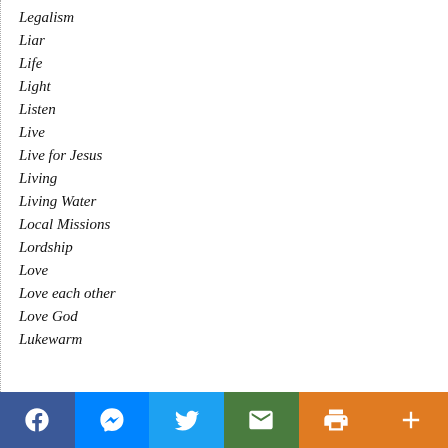Legalism
Liar
Life
Light
Listen
Live
Live for Jesus
Living
Living Water
Local Missions
Lordship
Love
Love each other
Love God
Lukewarm